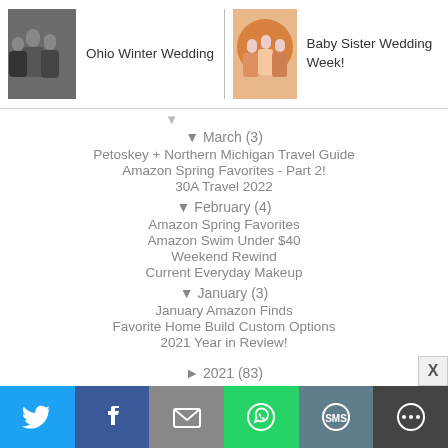[Figure (photo): Navigation row with two blog post thumbnails: left photo of people in dark clothing (Ohio Winter Wedding), right photo of women in colorful dresses (Baby Sister Wedding Week!)]
Ohio Winter Wedding
Baby Sister Wedding Week!
▼ March (3)
Petoskey + Northern Michigan Travel Guide
Amazon Spring Favorites - Part 2!
30A Travel 2022
▼ February (4)
Amazon Spring Favorites
Amazon Swim Under $40
Weekend Rewind
Current Everyday Makeup
▼ January (3)
January Amazon Finds
Favorite Home Build Custom Options
2021 Year in Review!
► 2021 (83)
[Figure (screenshot): Social sharing bar with icons: Twitter (blue), Facebook (dark blue), Email (grey), WhatsApp (green), SMS (blue-grey), More (dark grey). X close button in top right.]